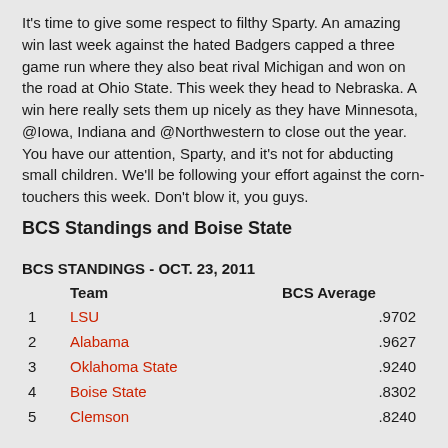It's time to give some respect to filthy Sparty.  An amazing win last week against the hated Badgers capped a three game run where they also beat rival Michigan and won on the road at Ohio State.  This week they head to Nebraska.  A win here really sets them up nicely as they have Minnesota, @Iowa, Indiana and @Northwestern to close out the year.  You have our attention, Sparty, and it's not for abducting small children.  We'll be following your effort against the corn-touchers this week.  Don't blow it, you guys.
BCS Standings and Boise State
|  | Team | BCS Average |
| --- | --- | --- |
| 1 | LSU | .9702 |
| 2 | Alabama | .9627 |
| 3 | Oklahoma State | .9240 |
| 4 | Boise State | .8302 |
| 5 | Clemson | .8240 |